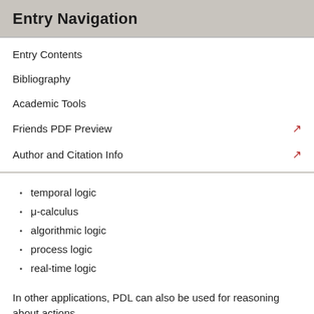Entry Navigation
Entry Contents
Bibliography
Academic Tools
Friends PDF Preview
Author and Citation Info
temporal logic
μ-calculus
algorithmic logic
process logic
real-time logic
In other applications, PDL can also be used for reasoning about actions.